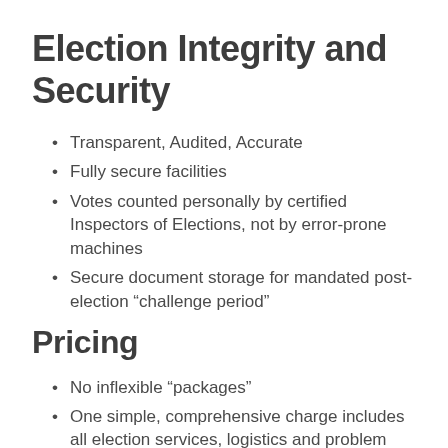Election Integrity and Security
Transparent, Audited, Accurate
Fully secure facilities
Votes counted personally by certified Inspectors of Elections, not by error-prone machines
Secure document storage for mandated post-election “challenge period”
Pricing
No inflexible “packages”
One simple, comprehensive charge includes all election services, logistics and problem solving
No extra charge for including multiple measures on the ballot